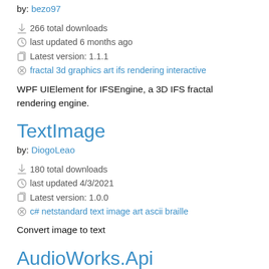by: bezo97
266 total downloads
last updated 6 months ago
Latest version: 1.1.1
fractal 3d graphics art ifs rendering interactive
WPF UIElement for IFSEngine, a 3D IFS fractal rendering engine.
TextImage
by: DiogoLeao
180 total downloads
last updated 4/3/2021
Latest version: 1.0.0
c# netstandard text image art ascii braille
Convert image to text
AudioWorks.Api
by: JHerbY2K